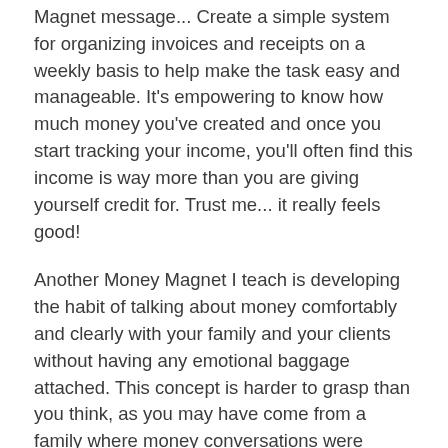Magnet message... Create a simple system for organizing invoices and receipts on a weekly basis to help make the task easy and manageable. It's empowering to know how much money you've created and once you start tracking your income, you'll often find this income is way more than you are giving yourself credit for. Trust me... it really feels good!
Another Money Magnet I teach is developing the habit of talking about money comfortably and clearly with your family and your clients without having any emotional baggage attached. This concept is harder to grasp than you think, as you may have come from a family where money conversations were volatile and confrontational, so being a natural people pleaser, you just try to avoid the subject.